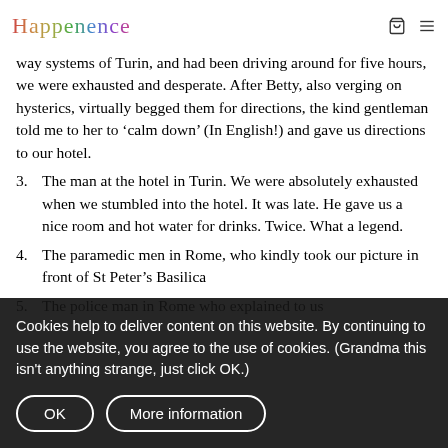Happenence
way systems of Turin, and had been driving around for five hours, we were exhausted and desperate. After Betty, also verging on hysterics, virtually begged them for directions, the kind gentleman told me to her to ‘calm down’ (In English!) and gave us directions to our hotel.
3. The man at the hotel in Turin. We were absolutely exhausted when we stumbled into the hotel. It was late. He gave us a nice room and hot water for drinks. Twice. What a legend.
4. The paramedic men in Rome, who kindly took our picture in front of St Peter’s Basilica
5. The police man in Rome who explained to us
Cookies help to deliver content on this website. By continuing to use the website, you agree to the use of cookies. (Grandma this isn't anything strange, just click OK.)